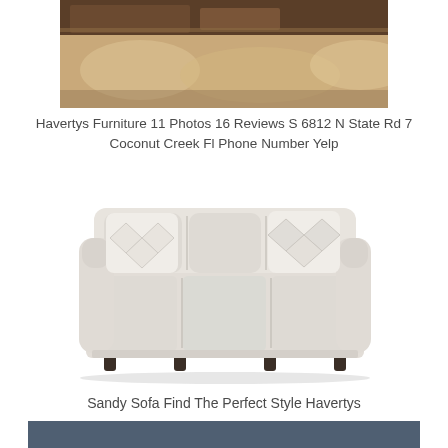[Figure (photo): Partial photo of a room scene with a furry rug and furniture, cropped at the top]
Havertys Furniture 11 Photos 16 Reviews S 6812 N State Rd 7 Coconut Creek Fl Phone Number Yelp
[Figure (photo): A light beige/cream three-seat sofa (Sandy Sofa) with two accent pillows with geometric diamond pattern, rolled arms, and dark feet on white background]
Sandy Sofa Find The Perfect Style Havertys
[Figure (photo): Bottom portion of a dark slate blue/grey panel, partially visible at the bottom of the page]